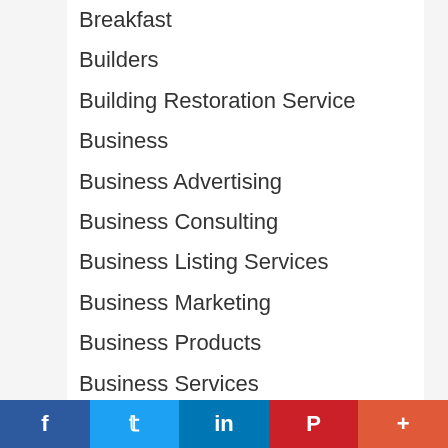Breakfast
Builders
Building Restoration Service
Business
Business Advertising
Business Consulting
Business Listing Services
Business Marketing
Business Products
Business Services
Business Solutions
Business Supplies
Businesses - General
Businesseses For Sale
f  🐦  in  P  +